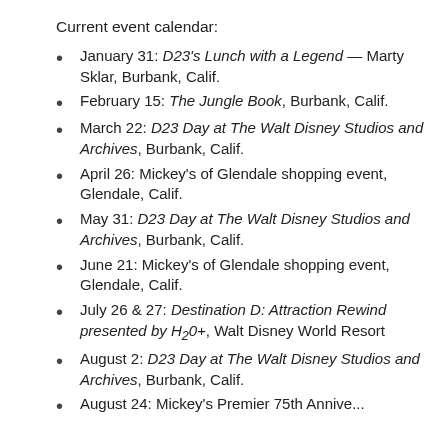Current event calendar:
January 31: D23's Lunch with a Legend — Marty Sklar, Burbank, Calif.
February 15: The Jungle Book, Burbank, Calif.
March 22: D23 Day at The Walt Disney Studios and Archives, Burbank, Calif.
April 26: Mickey's of Glendale shopping event, Glendale, Calif.
May 31: D23 Day at The Walt Disney Studios and Archives, Burbank, Calif.
June 21: Mickey's of Glendale shopping event, Glendale, Calif.
July 26 & 27: Destination D: Attraction Rewind presented by H2o+, Walt Disney World Resort
August 2: D23 Day at The Walt Disney Studios and Archives, Burbank, Calif.
August 24: Mickey's Premier 75th Anniv...